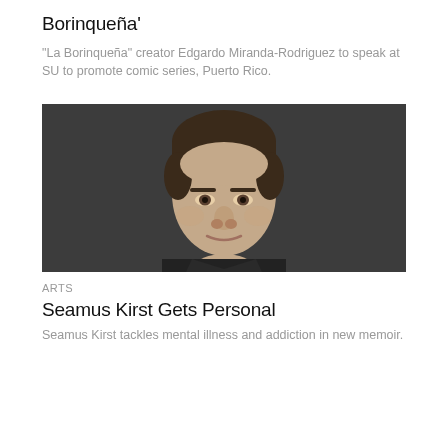Borinqueña'
"La Borinqueña" creator Edgardo Miranda-Rodriguez to speak at SU to promote comic series, Puerto Rico.
[Figure (photo): Portrait photo of a young man (Seamus Kirst) against a dark grey background, facing slightly forward, wearing a dark jacket.]
ARTS
Seamus Kirst Gets Personal
Seamus Kirst tackles mental illness and addiction in new memoir.